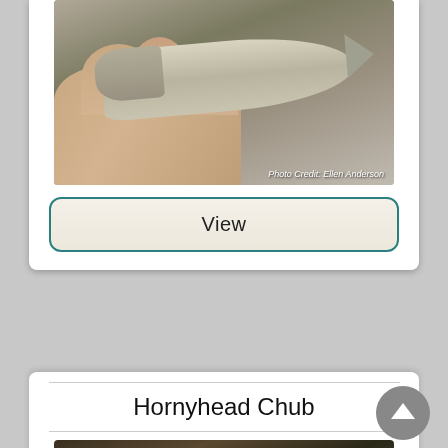[Figure (photo): A small silver fish being held in a person's hand, shown from the side. Photo credit: Ellen Anderson.]
Photo Credit: Ellen Anderson
View
Hornyhead Chub
[Figure (photo): Close-up photo of a fish being held in hands, partially visible at bottom of page.]